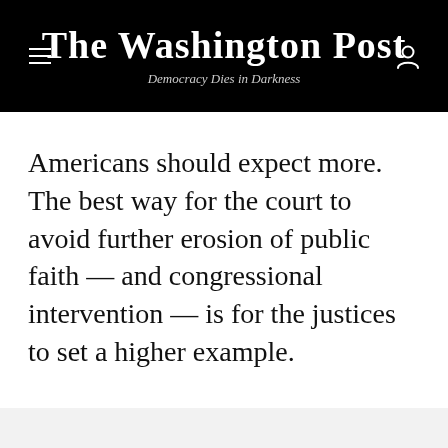The Washington Post — Democracy Dies in Darkness
Americans should expect more. The best way for the court to avoid further erosion of public faith — and congressional intervention — is for the justices to set a higher example.